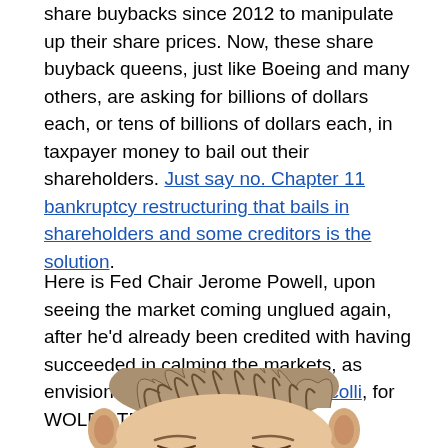share buybacks since 2012 to manipulate up their share prices. Now, these share buyback queens, just like Boeing and many others, are asking for billions of dollars each, or tens of billions of dollars each, in taxpayer money to bail out their shareholders. Just say no. Chapter 11 bankruptcy restructuring that bails in shareholders and some creditors is the solution.
Here is Fed Chair Jerome Powell, upon seeing the market coming unglued again, after he'd already been credited with having succeeded in calming the markets, as envisioned by cartoonist Marco Ricolli, for WOLF STREET:
[Figure (illustration): Cartoon illustration of a man (Jerome Powell) with tousled gray-brown hair, appearing distressed, head shown from above with ears visible, by cartoonist Marco Ricolli for WOLF STREET.]